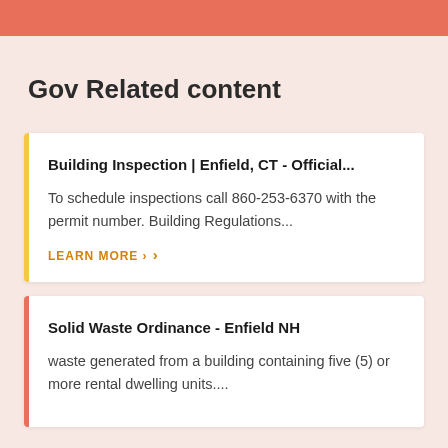Gov Related content
Building Inspection | Enfield, CT - Official...
To schedule inspections call 860-253-6370 with the permit number. Building Regulations...
LEARN MORE ›
Solid Waste Ordinance - Enfield NH
waste generated from a building containing five (5) or more rental dwelling units....